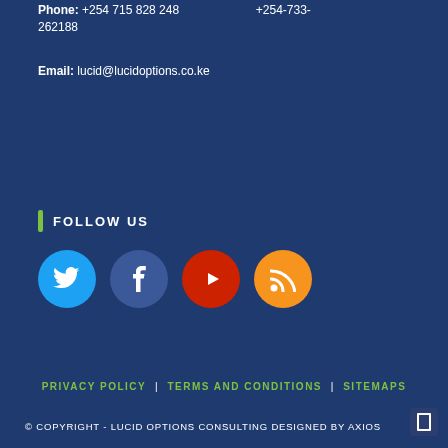Phone: +254 715 828 248   +254-733-262188
Email: lucid@lucidoptions.co.ke
FOLLOW US
[Figure (infographic): Four social media icons in circles: Twitter (cyan), Facebook (navy blue), YouTube (red), RSS feed (orange)]
PRIVACY POLICY | TERMS AND CONDITIONS | SITEMAPS
© COPYRIGHT - LUCID OPTIONS CONSULTING DESIGNED BY AXIOS